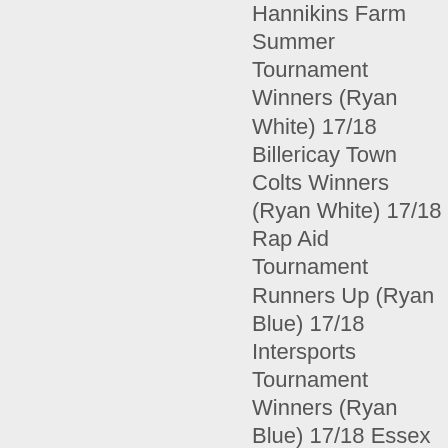Hannikins Farm Summer Tournament Winners (Ryan White) 17/18 Billericay Town Colts Winners (Ryan White) 17/18 Rap Aid Tournament Runners Up (Ryan Blue) 17/18 Intersports Tournament Winners (Ryan Blue) 17/18 Essex Royals Tournament Winners (Ryan Blue)